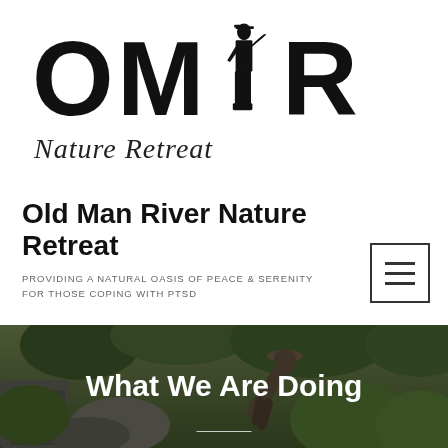[Figure (logo): OMR Nature Retreat logo with large block letters O, M, R and a silhouette of a saluting soldier between the M and R, with 'Nature Retreat' in cursive script below the letters]
Old Man River Nature Retreat
PROVIDING A NATURAL OASIS OF PEACE & SERENITY FOR THOSE COPING WITH PTSD
[Figure (illustration): Hamburger menu icon — three horizontal lines inside a square border]
[Figure (photo): Outdoor nature photograph showing a person in a hat bending over rocky terrain surrounded by lush green foliage and trees]
What We Are Doing